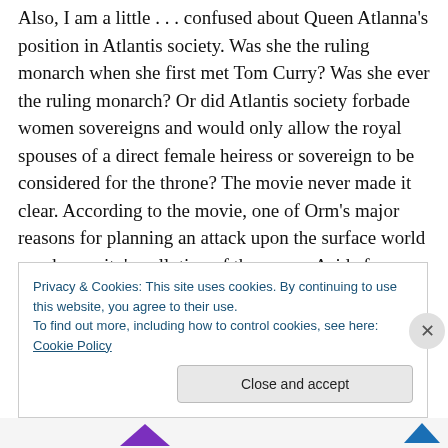Also, I am a little . . . confused about Queen Atlanna's position in Atlantis society. Was she the ruling monarch when she first met Tom Curry? Was she ever the ruling monarch? Or did Atlantis society forbade women sovereigns and would only allow the royal spouses of a direct female heiress or sovereign to be considered for the throne? The movie never made it clear. According to the movie, one of Orm's major reasons for planning an attack upon the surface world was humanity's pollution of the ocean. Aside from one minor sequence featuring news reports of piles of garbage washing up on many beaches, I
Privacy & Cookies: This site uses cookies. By continuing to use this website, you agree to their use.
To find out more, including how to control cookies, see here: Cookie Policy
Close and accept